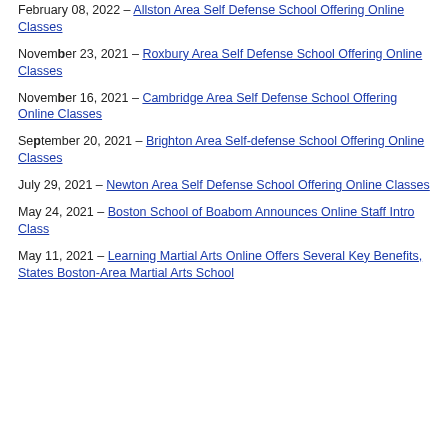February 08, 2022 – Allston Area Self Defense School Offering Online Classes
November 23, 2021 – Roxbury Area Self Defense School Offering Online Classes
November 16, 2021 – Cambridge Area Self Defense School Offering Online Classes
September 20, 2021 – Brighton Area Self-defense School Offering Online Classes
July 29, 2021 – Newton Area Self Defense School Offering Online Classes
May 24, 2021 – Boston School of Boabom Announces Online Staff Intro Class
May 11, 2021 – Learning Martial Arts Online Offers Several Key Benefits, States Boston-Area Martial Arts School